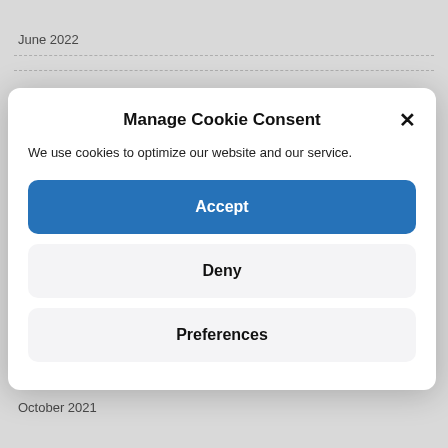June 2022
[Figure (screenshot): Cookie consent modal dialog with title 'Manage Cookie Consent', a close button (×), descriptive text, and three buttons: Accept (blue), Deny (light gray), Preferences (light gray)]
November 2021
October 2021